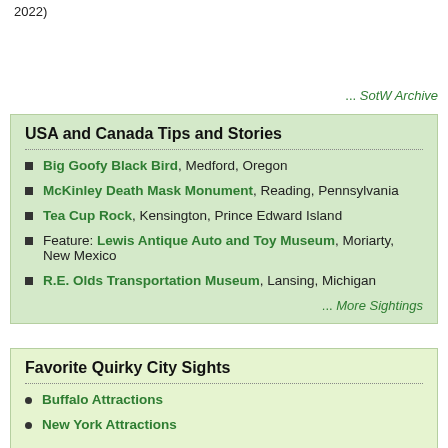2022)
... SotW Archive
USA and Canada Tips and Stories
Big Goofy Black Bird, Medford, Oregon
McKinley Death Mask Monument, Reading, Pennsylvania
Tea Cup Rock, Kensington, Prince Edward Island
Feature: Lewis Antique Auto and Toy Museum, Moriarty, New Mexico
R.E. Olds Transportation Museum, Lansing, Michigan
... More Sightings
Favorite Quirky City Sights
Buffalo Attractions
New York Attractions